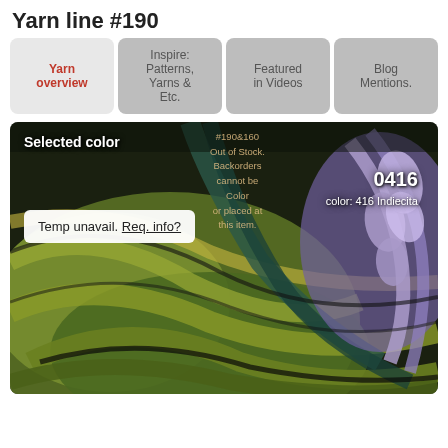Yarn line #190
Yarn overview | Inspire: Patterns, Yarns & Etc. | Featured in Videos | Blog Mentions.
[Figure (photo): Close-up photo of colorful yarn fibers in green, yellow, teal, purple and black tones. Overlaid text shows 'Selected color', a popup with 'Temp unavail. Req. info?', overlay text '#190&160 Out of Stock. Backorders cannot be Color: 0416 or placed at color: 416 Indiecita this item.']